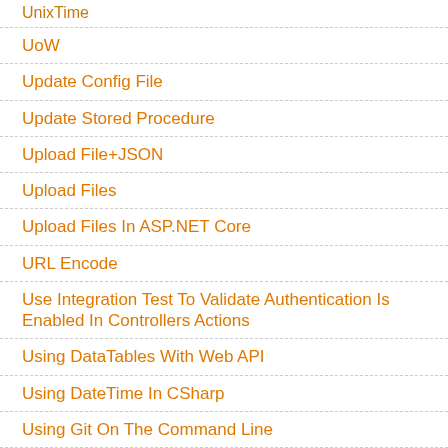UnixTime
UoW
Update Config File
Update Stored Procedure
Upload File+JSON
Upload Files
Upload Files In ASP.NET Core
URL Encode
Use Integration Test To Validate Authentication Is Enabled In Controllers Actions
Using DataTables With Web API
Using DateTime In CSharp
Using Git On The Command Line
Using HttpClient
Using Oracle With Fluent NHibernate
Using Parameters